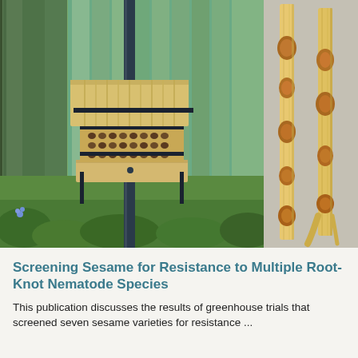[Figure (photo): Left: A wooden bee hotel/insect house mounted on a metal pole in a garden with a green wooden fence background and lush green plants. Right: Two sesame plant stems or stalks showing brown root-knot nematode damage/galls against a grey background.]
Screening Sesame for Resistance to Multiple Root-Knot Nematode Species
This publication discusses the results of greenhouse trials that screened seven sesame varieties for resistance ...